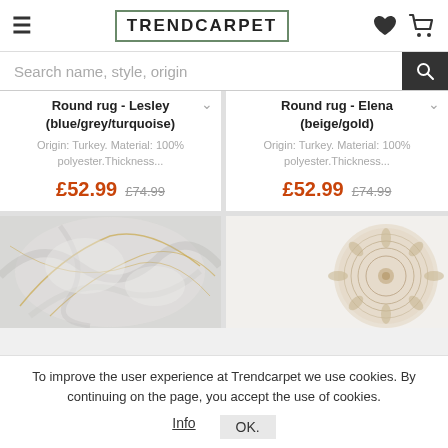TRENDCARPET
Search name, style, origin
Round rug - Lesley (blue/grey/turquoise)
Origin: Turkey. Material: 100% polyester.Thickness...
£52.99  £74.99
Round rug - Elena (beige/gold)
Origin: Turkey. Material: 100% polyester.Thickness...
£52.99  £74.99
[Figure (photo): Close-up of a grey and gold marble-effect round rug]
[Figure (photo): Beige round rug with ornate mandala pattern]
To improve the user experience at Trendcarpet we use cookies. By continuing on the page, you accept the use of cookies.